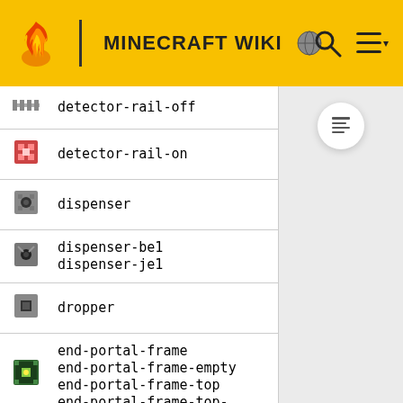MINECRAFT WIKI
| icon | name |
| --- | --- |
| [img] | detector-rail-off |
| [img] | detector-rail-on |
| [img] | dispenser |
| [img] | dispenser-be1
dispenser-je1 |
| [img] | dropper |
| [img] | end-portal-frame
end-portal-frame-empty
end-portal-frame-top
end-portal-frame-top-empty |
| [img] | end-portal-frame-side
end-portal-frame-side- |